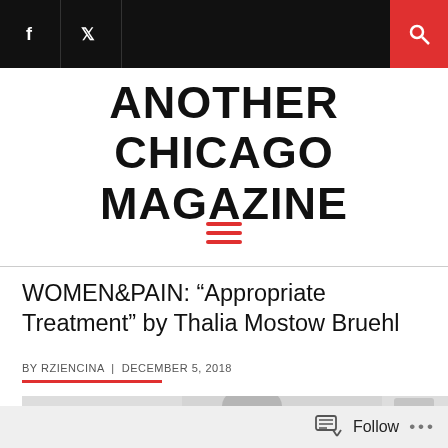Another Chicago Magazine - navigation bar with Facebook, Twitter icons and search
ANOTHER CHICAGO MAGAZINE
WOMEN&PAIN: “Appropriate Treatment” by Thalia Mostow Bruehl
BY RZIENCINA | DECEMBER 5, 2018
[Figure (photo): Black and white photograph partially visible at bottom of page, appears to show a person or figure]
Follow ...